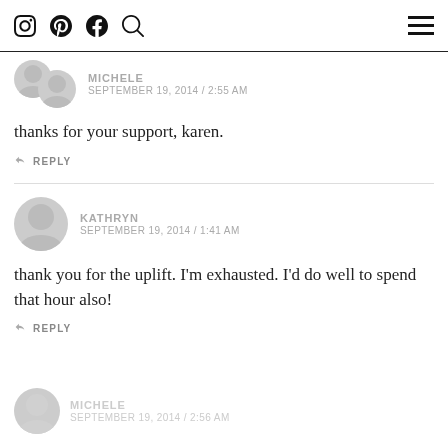Instagram Pinterest Facebook Search [hamburger menu]
MICHELE
SEPTEMBER 19, 2014 / 2:55 AM
thanks for your support, karen.
↩ REPLY
KATHRYN
SEPTEMBER 19, 2014 / 1:41 AM
thank you for the uplift. I'm exhausted. I'd do well to spend that hour also!
↩ REPLY
MICHELE
SEPTEMBER 19, 2014 / 2:56 AM